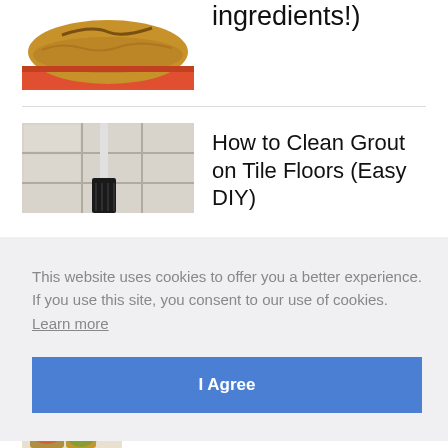[Figure (photo): Partial view of a baked bread loaf in an orange/red baking pan, golden brown top with a crack]
ingredients!)
[Figure (photo): Tile floor with grout lines and a dark brush scrubbing the grout]
How to Clean Grout on Tile Floors (Easy DIY)
This website uses cookies to offer you a better experience. If you use this site, you consent to our use of cookies. Learn more
I Agree
lars!
[Figure (photo): Partial view of jars with food items]